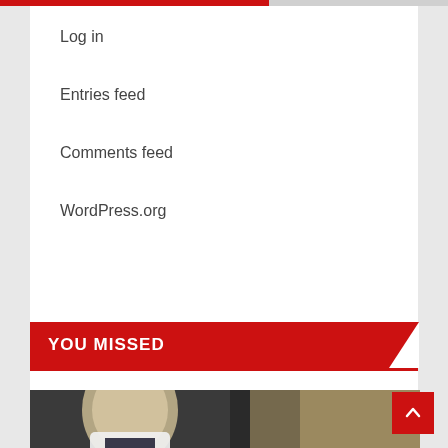Log in
Entries feed
Comments feed
WordPress.org
YOU MISSED
[Figure (photo): Photo of a man in a suit, partial face visible, with a blurred golden background]